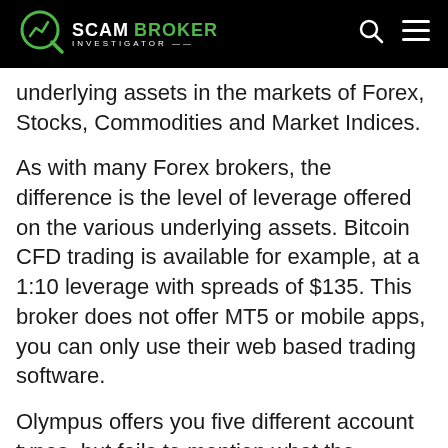Scam Broker Investigator
underlying assets in the markets of Forex, Stocks, Commodities and Market Indices.
As with many Forex brokers, the difference is the level of leverage offered on the various underlying assets. Bitcoin CFD trading is available for example, at a 1:10 leverage with spreads of $135. This broker does not offer MT5 or mobile apps, you can only use their web based trading software.
Olympus offers you five different account types, but fails to mention what the required minimum deposit it. Instead they are promoting their “Welcome Bonus”, which ranges from 40% – 100%. The problem with a welcome bonus, is that